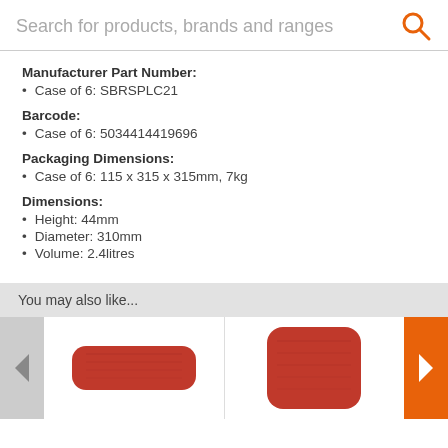Search for products, brands and ranges
Manufacturer Part Number:
Case of 6: SBRSPLC21
Barcode:
Case of 6: 5034414419696
Packaging Dimensions:
Case of 6: 115 x 315 x 315mm, 7kg
Dimensions:
Height: 44mm
Diameter: 310mm
Volume: 2.4litres
You may also like...
[Figure (photo): Two red/orange ceramic plate products shown as thumbnails in a product recommendation carousel with left and right navigation arrows.]